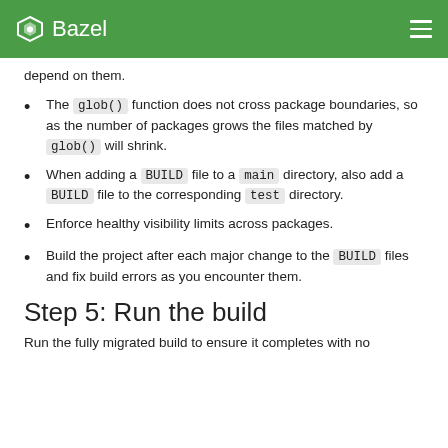Bazel
depend on them.
The glob() function does not cross package boundaries, so as the number of packages grows the files matched by glob() will shrink.
When adding a BUILD file to a main directory, also add a BUILD file to the corresponding test directory.
Enforce healthy visibility limits across packages.
Build the project after each major change to the BUILD files and fix build errors as you encounter them.
Step 5: Run the build
Run the fully migrated build to ensure it completes with no